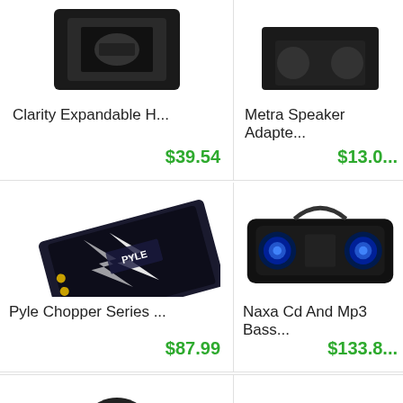[Figure (photo): Clarity Expandable H... product image (partially cropped at top)]
Clarity Expandable H...
$39.54
[Figure (photo): Metra Speaker Adapte... product image (partially cropped at top)]
Metra Speaker Adapte...
$13.0...
[Figure (photo): Pyle Chopper Series amplifier product image]
Pyle Chopper Series ...
$87.99
[Figure (photo): Naxa Cd And Mp3 Bass boombox product image]
Naxa Cd And Mp3 Bass...
$133.8...
[Figure (photo): Gaming mouse product image (partially cropped at bottom)]
[Figure (photo): Electronic device product image with back-to-top button overlay (partially cropped at bottom)]